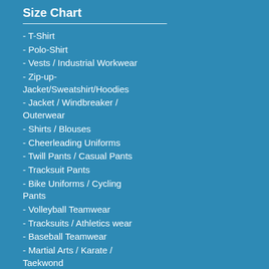Size Chart
- T-Shirt
- Polo-Shirt
- Vests / Industrial Workwear
- Zip-up-Jacket/Sweatshirt/Hoodies
- Jacket / Windbreaker / Outerwear
- Shirts / Blouses
- Cheerleading Uniforms
- Twill Pants / Casual Pants
- Tracksuit Pants
- Bike Uniforms / Cycling Pants
- Volleyball Teamwear
- Tracksuits / Athletics wear
- Baseball Teamwear
- Martial Arts / Karate / Taekwond
- Hiking Clothing
- Chef Uniforms
- Business Suits / Office wear
- Engineering Uniforms
- Housekeeping / Cleaning